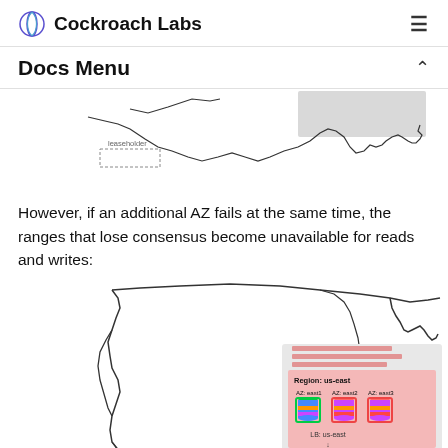Cockroach Labs
Docs Menu
[Figure (map): Partial map of the southern US border outline with a leaseholder legend and a gray highlighted region in the southeast (Florida area). Dashed box labeled 'leaseholder'.]
However, if an additional AZ fails at the same time, the ranges that lose consensus become unavailable for reads and writes:
[Figure (map): Outline map of the western/central US with an inset panel labeled 'Region: us-east' showing three AZ nodes (AZ: east1, AZ: east2, AZ: east3) with colored database cylinder icons on a pink/red background, indicating unavailability. Below shows 'LB: us-east' and a 'Clients' button.]